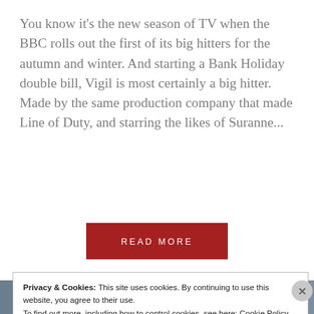You know it's the new season of TV when the BBC rolls out the first of its big hitters for the autumn and winter. And starting a Bank Holiday double bill, Vigil is most certainly a big hitter. Made by the same production company that made Line of Duty, and starring the likes of Suranne...
READ MORE
[Figure (photo): Partial view of a person seen from behind/side, with dark hair, in a blue-grey toned environment.]
Privacy & Cookies: This site uses cookies. By continuing to use this website, you agree to their use.
To find out more, including how to control cookies, see here: Cookie Policy
Close and accept